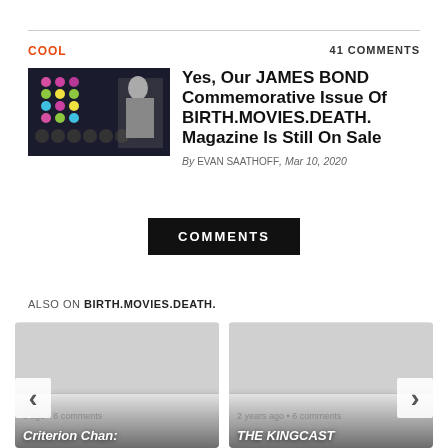COOL
41 COMMENTS
[Figure (photo): James Bond themed image with colorful dot grid pattern on dark background]
Yes, Our JAMES BOND Commemorative Issue Of BIRTH.MOVIES.DEATH. Magazine Is Still On Sale
By EVAN SAATHOFF, Mar 10, 2020
COMMENTS
ALSO ON BIRTH.MOVIES.DEATH.
[Figure (photo): Card image for Criterion Chan article]
s ago • 6 comments
Criterion Chan:
[Figure (photo): Card image for THE KINGCAST article]
2 years ago • 6 comments
THE KINGCAST